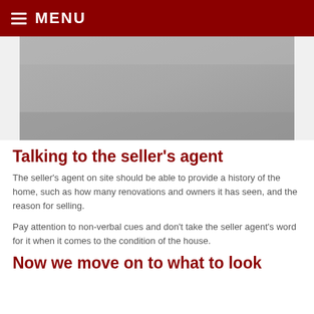MENU
[Figure (photo): A grey/silver placeholder image representing a home interior or exterior photograph]
Talking to the seller's agent
The seller's agent on site should be able to provide a history of the home, such as how many renovations and owners it has seen, and the reason for selling.
Pay attention to non-verbal cues and don't take the seller agent's word for it when it comes to the condition of the house.
Now we move on to what to look